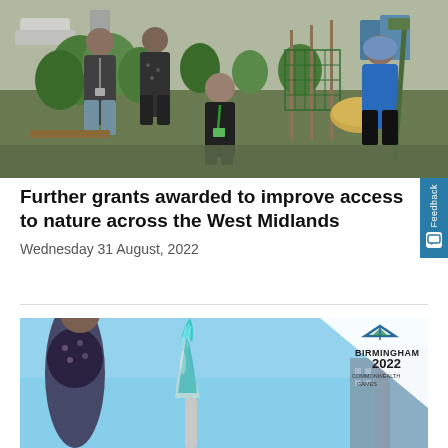[Figure (photo): Group of people working in a community garden, surrounded by green plants and garden tools. People are wearing casual clothes including t-shirts and one person in a blue top holds a garden tool.]
Further grants awarded to improve access to nature across the West Midlands
Wednesday 31 August, 2022
[Figure (photo): Photo showing a Commonwealth Games 2022 Birmingham trophy/flame sculpture against a blue sky, with the Birmingham 2022 Commonwealth Games logo visible on a white triangular banner in the background.]